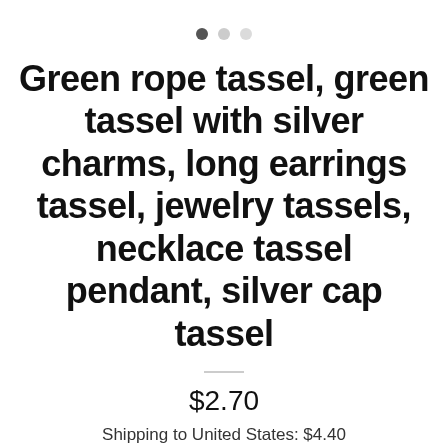Green rope tassel, green tassel with silver charms, long earrings tassel, jewelry tassels, necklace tassel pendant, silver cap tassel
$2.70
Shipping to United States: $4.40
Add to cart